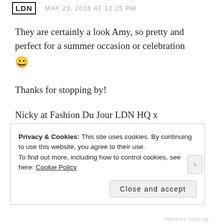FDJ LDN   MAY 23, 2016 AT 12:25 PM
They are certainly a look Amy, so pretty and perfect for a summer occasion or celebration 😀
Thanks for stopping by!
Nicky at Fashion Du Jour LDN HQ x
★ Like
Privacy & Cookies: This site uses cookies. By continuing to use this website, you agree to their use.
To find out more, including how to control cookies, see here: Cookie Policy
Close and accept